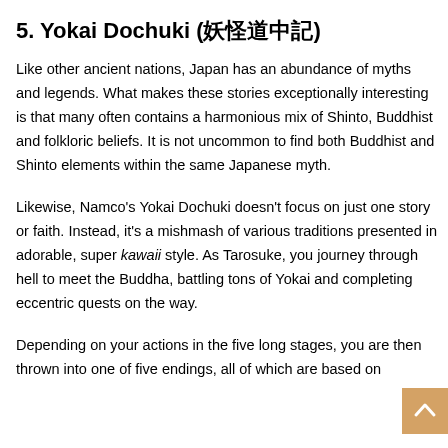5. Yokai Dochuki (妖怪道中記)
Like other ancient nations, Japan has an abundance of myths and legends. What makes these stories exceptionally interesting is that many often contains a harmonious mix of Shinto, Buddhist and folkloric beliefs. It is not uncommon to find both Buddhist and Shinto elements within the same Japanese myth.
Likewise, Namco's Yokai Dochuki doesn't focus on just one story or faith. Instead, it's a mishmash of various traditions presented in adorable, super kawaii style. As Tarosuke, you journey through hell to meet the Buddha, battling tons of Yokai and completing eccentric quests on the way.
Depending on your actions in the five long stages, you are then thrown into one of five endings, all of which are based on